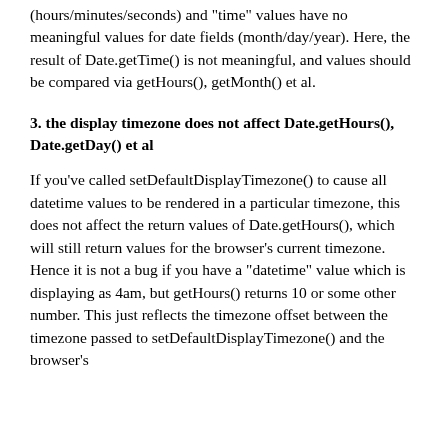(hours/minutes/seconds) and "time" values have no meaningful values for date fields (month/day/year). Here, the result of Date.getTime() is not meaningful, and values should be compared via getHours(), getMonth() et al.
3. the display timezone does not affect Date.getHours(), Date.getDay() et al
If you've called setDefaultDisplayTimezone() to cause all datetime values to be rendered in a particular timezone, this does not affect the return values of Date.getHours(), which will still return values for the browser's current timezone. Hence it is not a bug if you have a "datetime" value which is displaying as 4am, but getHours() returns 10 or some other number. This just reflects the timezone offset between the timezone passed to setDefaultDisplayTimezone() and the browser's